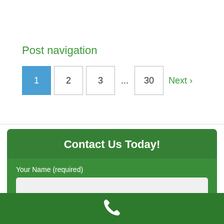Post navigation
1  2  3  ...  30  Next >
Contact Us Today!
Your Name (required)
Your Email (required)